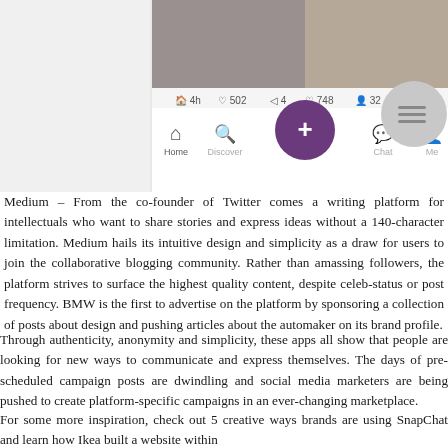[Figure (screenshot): Screenshot of a mobile app (likely WeChat or similar) showing navigation bar with Home, Discover, +, Chat, Me icons, and a circular + button in the center. A gray circular menu button appears to the right. The top shows an image with person and stats bar showing numbers like 502, 748, 32.]
Medium – From the co-founder of Twitter comes a writing platform for intellectuals who want to share stories and express ideas without a 140-character limitation. Medium hails its intuitive design and simplicity as a draw for users to join the collaborative blogging community. Rather than amassing followers, the platform strives to surface the highest quality content, despite celeb-status or post frequency. BMW is the first to advertise on the platform by sponsoring a collection of posts about design and pushing articles about the automaker on its brand profile.
Through authenticity, anonymity and simplicity, these apps all show that people are looking for new ways to communicate and express themselves. The days of pre-scheduled campaign posts are dwindling and social media marketers are being pushed to create platform-specific campaigns in an ever-changing marketplace.
For some more inspiration, check out 5 creative ways brands are using SnapChat and learn how Ikea built a website within